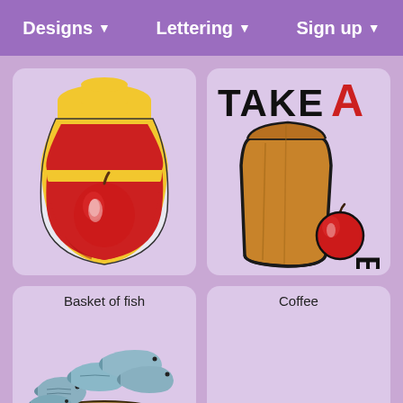Designs ▼   Lettering ▼   Sign up ▼
[Figure (illustration): Embroidery design of a red apple on a decorative red and yellow vase/jar]
[Figure (illustration): Embroidery design showing a brown paper lunch bag with an apple, with text 'TAKE A' and partial letters visible]
Basket of fish
Coffee
[Figure (illustration): Embroidery design of a basket filled with fish]
[Figure (illustration): Coffee design (not visible/empty card)]